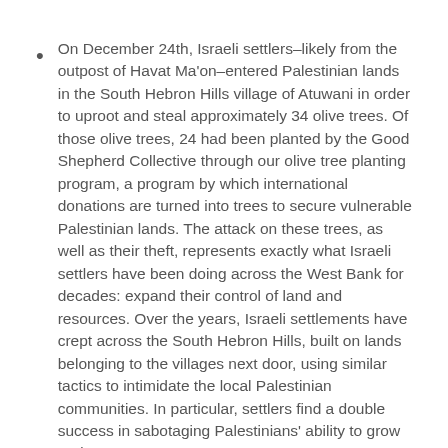On December 24th, Israeli settlers–likely from the outpost of Havat Ma'on–entered Palestinian lands in the South Hebron Hills village of Atuwani in order to uproot and steal approximately 34 olive trees. Of those olive trees, 24 had been planted by the Good Shepherd Collective through our olive tree planting program, a program by which international donations are turned into trees to secure vulnerable Palestinian lands. The attack on these trees, as well as their theft, represents exactly what Israeli settlers have been doing across the West Bank for decades: expand their control of land and resources. Over the years, Israeli settlements have crept across the South Hebron Hills, built on lands belonging to the villages next door, using similar tactics to intimidate the local Palestinian communities. In particular, settlers find a double success in sabotaging Palestinians' ability to grow and